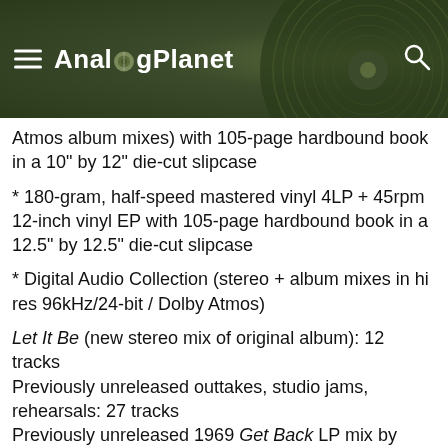AnalogPlanet
Atmos album mixes) with 105-page hardbound book in a 10" by 12" die-cut slipcase
* 180-gram, half-speed mastered vinyl 4LP + 45rpm 12-inch vinyl EP with 105-page hardbound book in a 12.5" by 12.5" die-cut slipcase
* Digital Audio Collection (stereo + album mixes in hi res 96kHz/24-bit / Dolby Atmos)
Let It Be (new stereo mix of original album): 12 tracks
Previously unreleased outtakes, studio jams, rehearsals: 27 tracks
Previously unreleased 1969 Get Back LP mix by Glyn